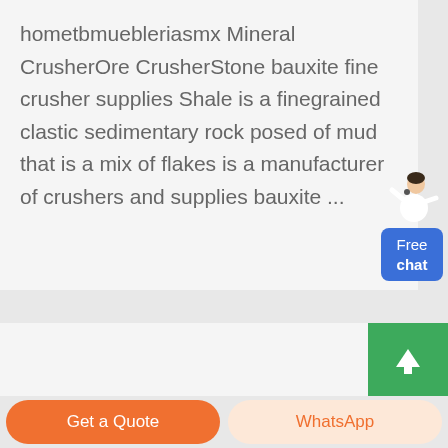hometbmuebleriasmx Mineral CrusherOre CrusherStone bauxite fine crusher supplies Shale is a finegrained clastic sedimentary rock posed of mud that is a mix of flakes is a manufacturer of crushers and supplies bauxite ...
[Figure (illustration): A chat support widget showing a person in white shirt gesturing, with a blue button labeled 'Free chat' below]
[Figure (illustration): A green button with a white upward arrow for scrolling to top of page]
Get a Quote
WhatsApp